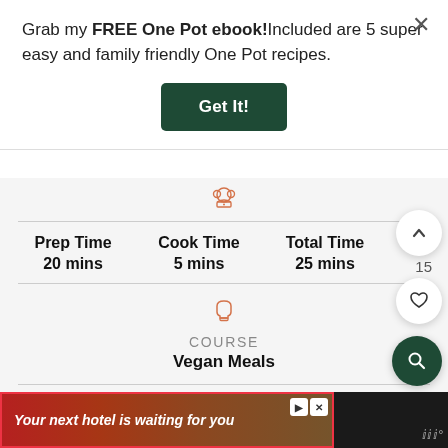Grab my FREE One Pot ebook!Included are 5 super easy and family friendly One Pot recipes.
Get It!
Prep Time
20 mins
Cook Time
5 mins
Total Time
25 mins
COURSE
Vegan Meals
CUISINE
[Figure (screenshot): Ad banner at bottom: dark background with hotel advertisement text 'Your next hotel is waiting for you' over scenic image, with play/close icons and weather widget showing degree symbol]
15